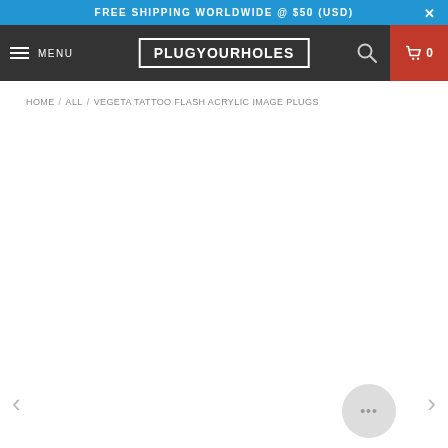FREE SHIPPING WORLDWIDE @ $50 (USD)
PLUGYOURHOLES — MENU — Search — Cart 0
HOME / ALL / VEGETA TATTOO FLASH ACRYLIC IMAGE PLUGS